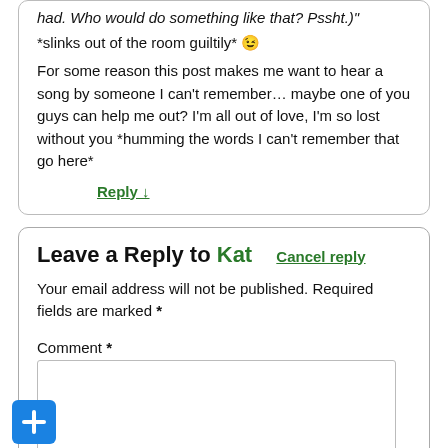had. Who would do something like that? Pssht.)"
*slinks out of the room guiltily* 😊
For some reason this post makes me want to hear a song by someone I can't remember… maybe one of you guys can help me out? I'm all out of love, I'm so lost without you *humming the words I can't remember that go here*
Reply ↓
Leave a Reply to Kat   Cancel reply
Your email address will not be published. Required fields are marked *
Comment *